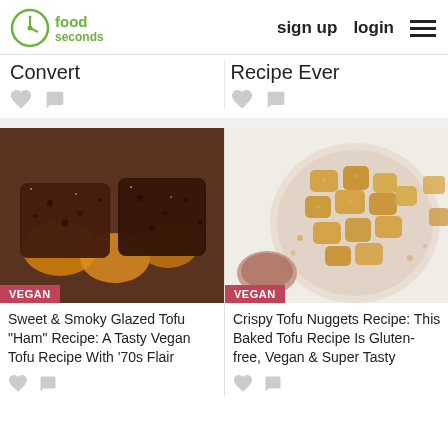30 seconds food — sign up   login
Convert
Recipe Ever
[Figure (photo): Sweet & Smoky Glazed Tofu Ham on butternut squash slices in a baking pan, with VEGAN badge]
[Figure (photo): Crispy Tofu Nuggets on a plate with dipping sauce, with VEGAN badge]
Sweet & Smoky Glazed Tofu "Ham" Recipe: A Tasty Vegan Tofu Recipe With '70s Flair
Crispy Tofu Nuggets Recipe: This Baked Tofu Recipe Is Gluten-free, Vegan & Super Tasty